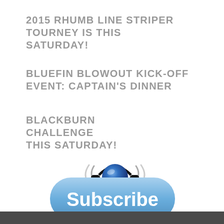2015 RHUMB LINE STRIPER TOURNEY IS THIS SATURDAY!
BLUEFIN BLOWOUT KICK-OFF EVENT: CAPTAIN'S DINNER
BLACKBURN CHALLENGE THIS SATURDAY!
[Figure (illustration): Podcast icon: blue sphere with black headphones and sound wave lines, with text PODCAST below]
[Figure (illustration): Blue rounded rectangle Subscribe button with white bold text]
[Figure (photo): Partial dark photo at bottom of page]